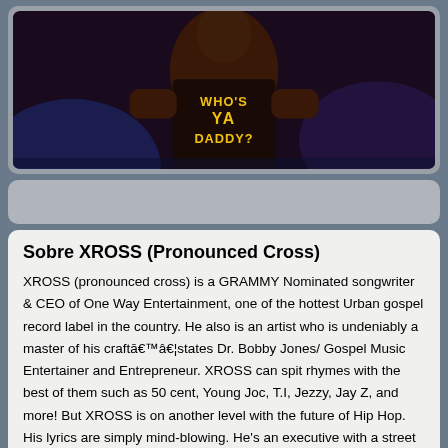[Figure (photo): A performer on stage wearing a black shirt that reads 'WHO'S YA DADDY?' in yellow letters, performing under stage lighting with a dark background.]
Sobre XROSS (Pronounced Cross)

XROSS (pronounced cross) is a GRAMMY Nominated songwriter & CEO of One Way Entertainment, one of the hottest Urban gospel record label in the country. He also is an artist who is undeniably a master of his craftââ€¦states Dr. Bobby Jones/ Gospel Music Entertainer and Entrepreneur. XROSS can spit rhymes with the best of them such as 50 cent, Young Joc, T.I, Jezzy, Jay Z, and more! But XROSS is on another level with the future of Hip Hop. His lyrics are simply mind-blowing. He's an executive with a street appeal,with lyrics that bring life and wholeness to the listener. Mega hit of song like "Who's Ya Daddy" (now Playing) Change a Thug, Wasting My Time,Move,Let It Burn and I won't Lose! Check out www.xrossmusic.com to listen and purchase a copy of his CD's